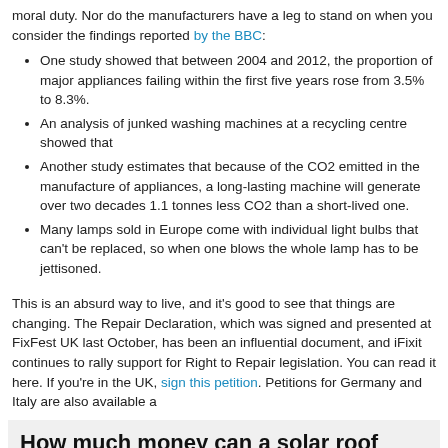moral duty. Nor do the manufacturers have a leg to stand on when you consider the findings reported by the BBC:
One study showed that between 2004 and 2012, the proportion of major appliances failing within the first five years rose from 3.5% to 8.3%.
An analysis of junked washing machines at a recycling centre showed that
Another study estimates that because of the CO2 emitted in the manufacture of appliances, a long-lasting machine will generate over two decades 1.1 tonnes less CO2 than a short-lived one.
Many lamps sold in Europe come with individual light bulbs that can't be replaced, so when one blows the whole lamp has to be jettisoned.
This is an absurd way to live, and it's good to see that things are changing. The Repair Declaration, which was signed and presented at FixFest UK last October, has been an influential document, and iFixit continues to rally support for Right to Repair legislation. You can read it here. If you're in the UK, sign this petition. Petitions for Germany and Italy are also available a
[Figure (infographic): Infographic showing 'How much money can a solar roof save in Virginia?' with a US map colored in shades of green, a section about profit from roof space in your area, and a number box showing 20149.]